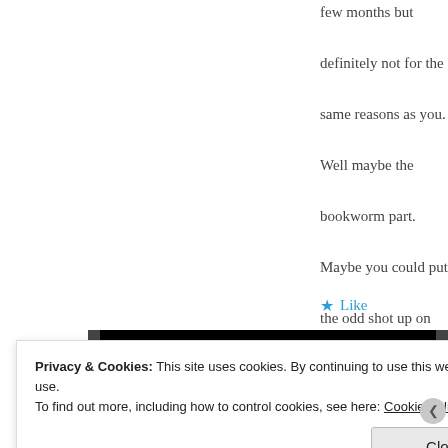few months but definitely not for the same reasons as you. Well maybe the bookworm part. Maybe you could put the odd shot up on Instagram.
Like
[Figure (screenshot): Black video banner with a red 'Start reading' button in italic text centered on it, with dark grey sidebars on the left and right edges.]
Privacy & Cookies: This site uses cookies. By continuing to use this website, you agree to their use.
To find out more, including how to control cookies, see here: Cookie Policy
Close and accept